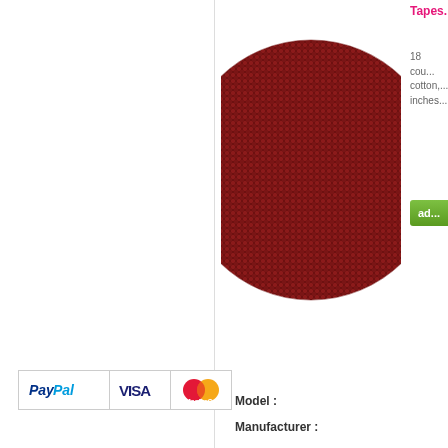[Figure (photo): Circular swatch of deep red/crimson aida fabric with visible grid weave texture]
Tapes...
18 count, cotton, ... inches...
add
Model :
Manufacturer :
Displaying 1 to 5 (of 5 products)
[Figure (logo): Payment method logos: PayPal, Visa, MasterCard]